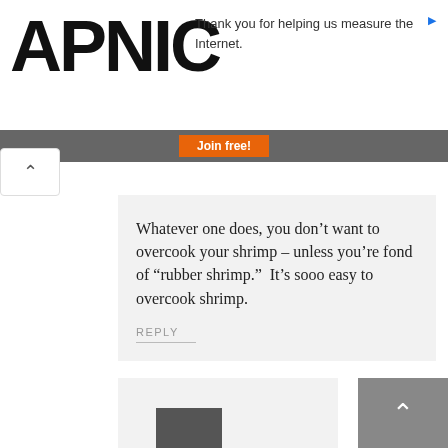APNIC
Thank you for helping us measure the Internet.
Join free!
Whatever one does, you don’t want to overcook your shrimp – unless you’re fond of “rubber shrimp.”  It’s sooo easy to overcook shrimp.
REPLY
[Figure (photo): Small thumbnail image at bottom of page, partially visible]